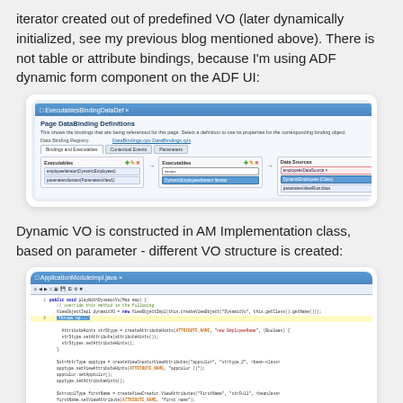iterator created out of predefined VO (later dynamically initialized, see my previous blog mentioned above). There is not table or attribute bindings, because I'm using ADF dynamic form component on the ADF UI:
[Figure (screenshot): Screenshot of an ADF page binding editor showing Executables and Bindings panels with iterator configuration]
Dynamic VO is constructed in AM Implementation class, based on parameter - different VO structure is created:
[Figure (screenshot): Screenshot of Java code editor showing Dynamic VO construction in AM Implementation class with ViewObject and AttributeHints method calls]